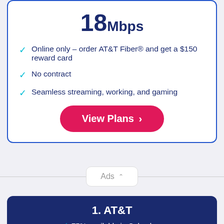18Mbps
Online only – order AT&T Fiber® and get a $150 reward card
No contract
Seamless streaming, working, and gaming
View Plans
Ads
1. AT&T
75% available in Columbus